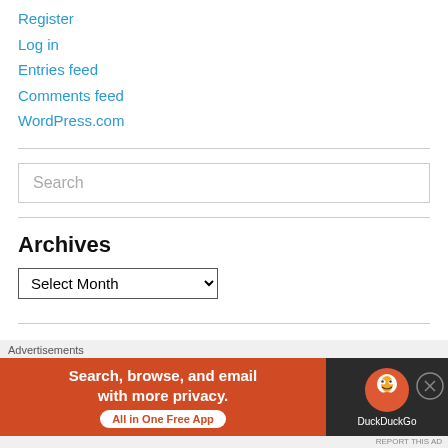Register
Log in
Entries feed
Comments feed
WordPress.com
Search
Archives
Select Month
Blog Arc…
Advertisements
[Figure (infographic): DuckDuckGo advertisement banner: 'Search, browse, and email with more privacy. All in One Free App' with DuckDuckGo logo on dark background]